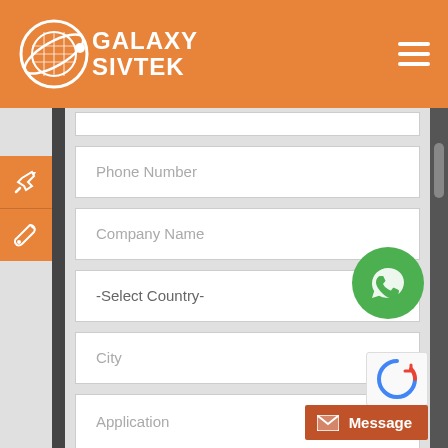[Figure (logo): Galaxy Sivtek logo with white circular sieve icon and white text on orange background]
Phone Number
Company Name
-Select Country-
City
Application
Select Industry
[Figure (illustration): WhatsApp green phone icon button]
Message